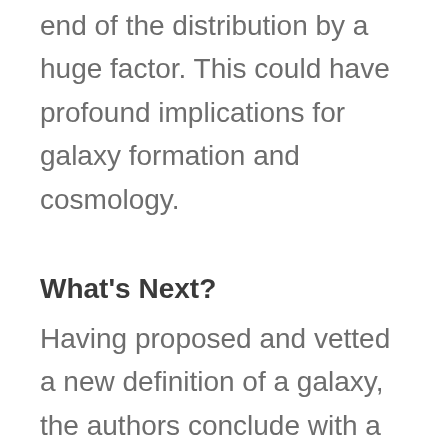end of the distribution by a huge factor. This could have profound implications for galaxy formation and cosmology.
What's Next?
Having proposed and vetted a new definition of a galaxy, the authors conclude with a laundry list of suggested observations, which includes challenging but feasible measurements such as